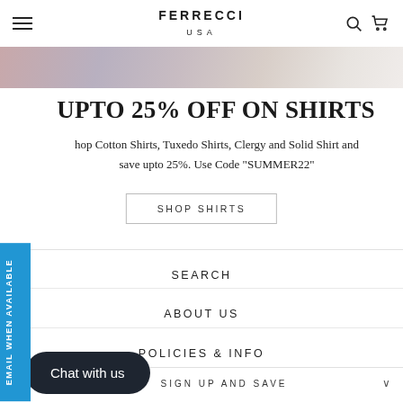FERRECCI USA
[Figure (photo): Decorative banner strip with soft pink, lavender and beige gradient tones]
UPTO 25% OFF ON SHIRTS
Shop Cotton Shirts, Tuxedo Shirts, Clergy and Solid Shirt and save upto 25%. Use Code "SUMMER22"
SHOP SHIRTS
EMAIL WHEN AVAILABLE
SEARCH
ABOUT US
POLICIES & INFO
SIGN UP AND SAVE
Chat with us